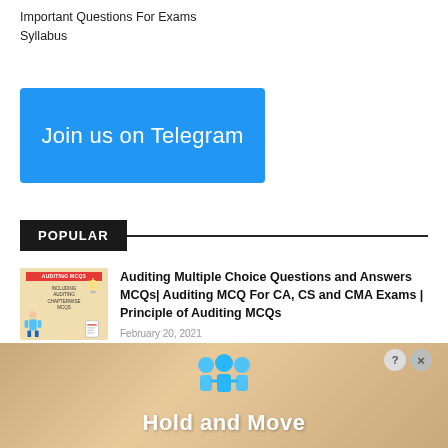Important Questions For Exams
Syllabus
[Figure (other): Blue 'Join us on Telegram' button]
POPULAR
[Figure (illustration): Thumbnail image for Auditing MCQs article with red label 'AUDITING MCQS', text about chapterwise MCQs, and cartoon figures]
Auditing Multiple Choice Questions and Answers MCQs| Auditing MCQ For CA, CS and CMA Exams | Principle of Auditing MCQs
February 20, 2021
[Figure (screenshot): Advertisement banner showing 'Hold and Move' with cartoon figures and close button]